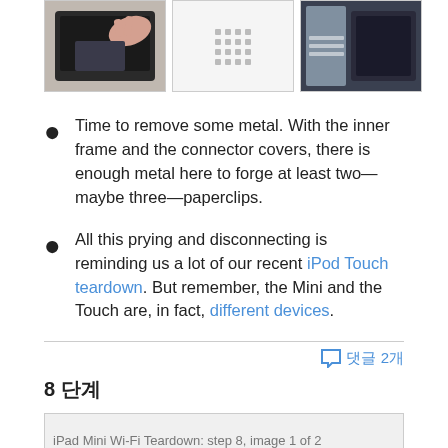[Figure (photo): Three images in a row: left shows a person removing components from a device, center shows a dotted/grid placeholder, right shows a close-up of an internal device component.]
Time to remove some metal. With the inner frame and the connector covers, there is enough metal here to forge at least two—maybe three—paperclips.
All this prying and disconnecting is reminding us a lot of our recent iPod Touch teardown. But remember, the Mini and the Touch are, in fact, different devices.
댓글 2개
8 단계
[Figure (photo): iPad Mini Wi-Fi Teardown: step 8, image 1 of 2]